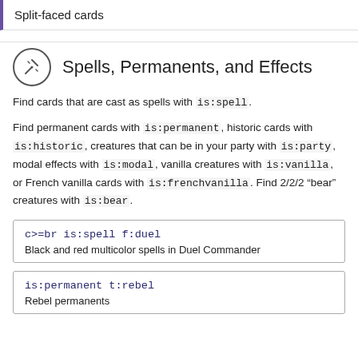Split-faced cards
Spells, Permanents, and Effects
Find cards that are cast as spells with is:spell.
Find permanent cards with is:permanent, historic cards with is:historic, creatures that can be in your party with is:party, modal effects with is:modal, vanilla creatures with is:vanilla, or French vanilla cards with is:frenchvanilla. Find 2/2/2 "bear" creatures with is:bear.
| c>=br is:spell f:duel | Black and red multicolor spells in Duel Commander |
| is:permanent t:rebel | Rebel permanents |